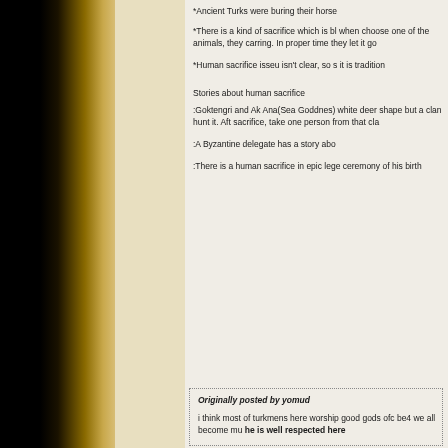*Ancient Turks were buring their horse
*There is a kind of sacrifice which is bl when choose one of the animals, they carring. In proper time they let it go
*Human sacrifice isseu isn't clear, so s it is tradition
Stories about human sacrifice
:Goktengri and Ak Ana(Sea Goddnes) white deer shape but a clan hunt it. Aft sacrifice, take one person from that cla
:A Byzantine delegate has a story abo
:There is a human sacrifice in epic lege ceremony of his birth
Originally posted by yomud

i think most of turkmens here worship good gods ofc be4 we all become mu he is well respected here